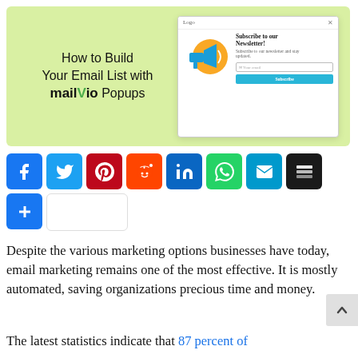[Figure (illustration): Hero banner with light green background showing 'How to Build Your Email List with Mailvio Popups' text on the left and a newsletter popup mockup on the right with megaphone icon, subscribe form, and blue subscribe button.]
[Figure (infographic): Social sharing buttons row: Facebook (blue), Twitter (blue), Pinterest (dark red), Reddit (orange), LinkedIn (blue), WhatsApp (green), Email (blue), Buffer (black), plus a Share button and blank white button.]
Despite the various marketing options businesses have today, email marketing remains one of the most effective. It is mostly automated, saving organizations precious time and money.
The latest statistics indicate that 87 percent of